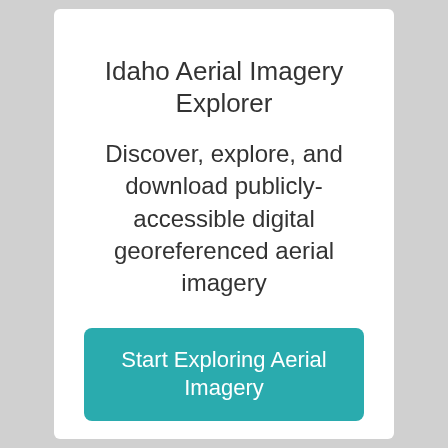Idaho Aerial Imagery Explorer
Discover, explore, and download publicly-accessible digital georeferenced aerial imagery
Start Exploring Aerial Imagery